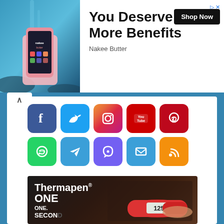[Figure (infographic): Advertisement banner: Nakee Butter - You Deserve More Benefits with Shop Now button]
[Figure (infographic): Social media sharing icons grid: Facebook, Twitter, Instagram, YouTube, Pinterest (top row); WhatsApp, Telegram, Viber, Email, RSS (bottom row)]
[Figure (photo): Thermapen ONE advertisement: red thermometer reading 125, text says Thermapen ONE, ONE. SECOND.]